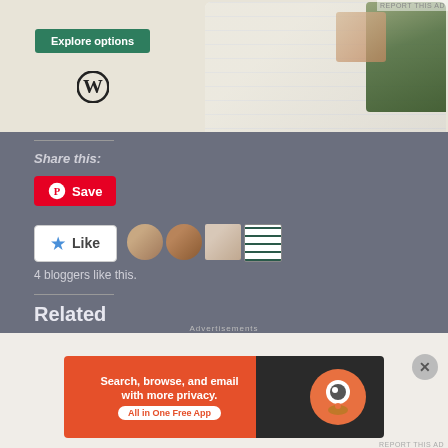[Figure (screenshot): WordPress website builder ad showing Explore options button, WordPress logo, and food/menu website screenshots on phone mockups]
REPORT THIS AD
Share this:
[Figure (other): Pinterest Save button (red with Pinterest icon)]
[Figure (other): Like button (white with blue star) and 4 blogger avatar thumbnails]
4 bloggers like this.
Related
[Figure (photo): Two related article thumbnail images side by side]
Advertisements
[Figure (screenshot): DuckDuckGo advertisement: Search, browse, and email with more privacy. All in One Free App]
REPORT THIS AD